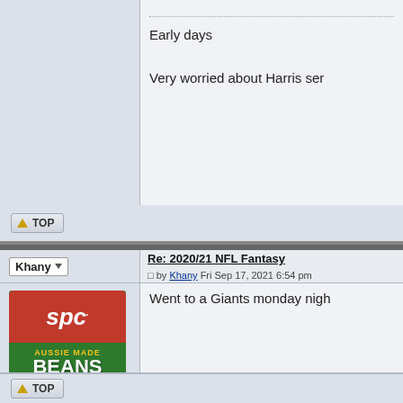Early days

Very worried about Harris ser
[Figure (screenshot): TOP navigation button with upward arrow]
Re: 2020/21 NFL Fantasy
by Khany Fri Sep 17, 2021 6:54 pm
Khany (username with dropdown)
[Figure (photo): SPC Aussie Made Beans BBQ Flavour can - avatar image]
@ Khany

Posts : 3887
Reputation : 1283
Join date : 2019-02-24
Went to a Giants monday nigh
[Figure (screenshot): TOP navigation button with upward arrow at bottom]